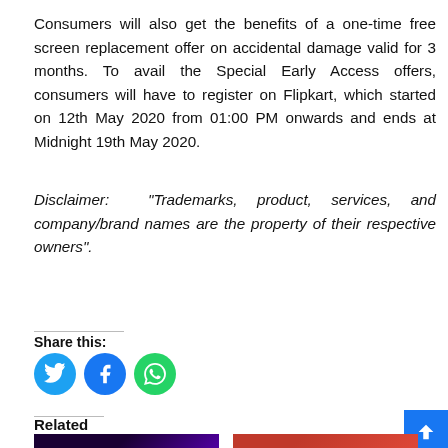Consumers will also get the benefits of a one-time free screen replacement offer on accidental damage valid for 3 months. To avail the Special Early Access offers, consumers will have to register on Flipkart, which started on 12th May 2020 from 01:00 PM onwards and ends at Midnight 19th May 2020.
Disclaimer: "Trademarks, product, services, and company/brand names are the property of their respective owners".
Share this:
[Figure (infographic): Three social share icon buttons: Twitter (blue bird icon), Facebook (blue f icon), WhatsApp (green phone icon)]
Related
[Figure (photo): Dark/purple themed smartphone promotional image (left thumbnail)]
[Figure (photo): Red/orange themed smartphone promotional image (right thumbnail)]